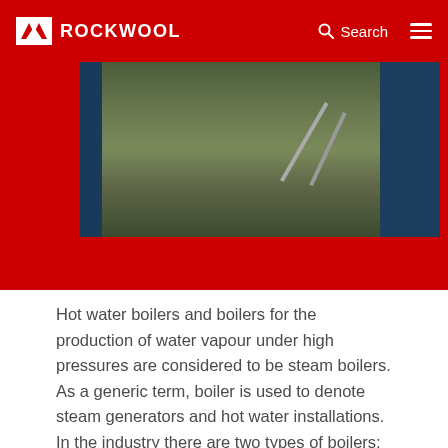Boilers – ROCKWOOL
[Figure (photo): ROCKWOOL website screenshot showing a boiler insulation photo with dark blue corrugated panels on the sides and a mineral wool insulation layer in the centre, with metal straps/rods crossing diagonally, set against a red background hero area.]
Hot water boilers and boilers for the production of water vapour under high pressures are considered to be steam boilers. As a generic term, boiler is used to denote steam generators and hot water installations. In the industry there are two types of boilers; the steam engine boilers and fire tube boilers.